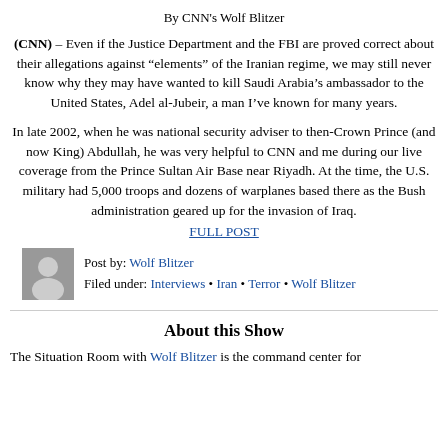By CNN's Wolf Blitzer
(CNN) – Even if the Justice Department and the FBI are proved correct about their allegations against “elements” of the Iranian regime, we may still never know why they may have wanted to kill Saudi Arabia’s ambassador to the United States, Adel al-Jubeir, a man I’ve known for many years.
In late 2002, when he was national security adviser to then-Crown Prince (and now King) Abdullah, he was very helpful to CNN and me during our live coverage from the Prince Sultan Air Base near Riyadh. At the time, the U.S. military had 5,000 troops and dozens of warplanes based there as the Bush administration geared up for the invasion of Iraq.
FULL POST
Post by: Wolf Blitzer
Filed under: Interviews • Iran • Terror • Wolf Blitzer
About this Show
The Situation Room with Wolf Blitzer is the command center for